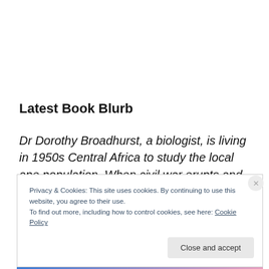Latest Book Blurb
Dr Dorothy Broadhurst, a biologist, is living in 1950s Central Africa to study the local ape population. When civil war erupts and the rest of her team flees, she's left alone
Privacy & Cookies: This site uses cookies. By continuing to use this website, you agree to their use.
To find out more, including how to control cookies, see here: Cookie Policy